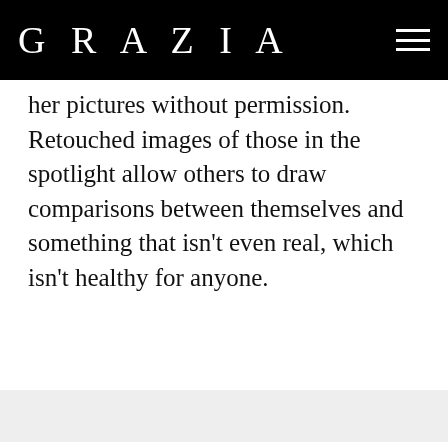GRAZIA
her pictures without permission. Retouched images of those in the spotlight allow others to draw comparisons between themselves and something that isn't even real, which isn't healthy for anyone.
What's worse is the development of apps, programmes and filters which allow users to airbrush and retouch their personal pictures. These apps are often used on pictures that are later uploaded to social media, and therefore help to continue the dangerous cycle of